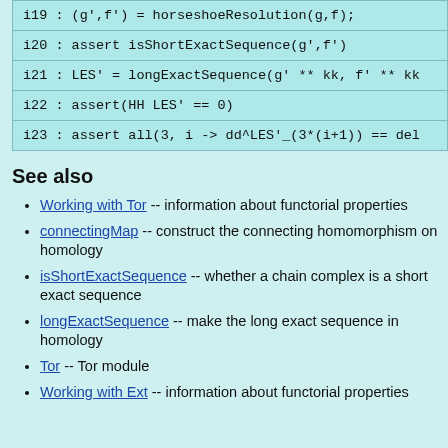i19 : (g',f') = horseshoeResolution(g,f);
i20 : assert isShortExactSequence(g',f')
i21 : LES' = longExactSequence(g' ** kk, f' ** kk
i22 : assert(HH LES' == 0)
i23 : assert all(3, i -> dd^LES'_(3*(i+1)) == del
See also
Working with Tor -- information about functorial properties
connectingMap -- construct the connecting homomorphism on homology
isShortExactSequence -- whether a chain complex is a short exact sequence
longExactSequence -- make the long exact sequence in homology
Tor -- Tor module
Working with Ext -- information about functorial properties